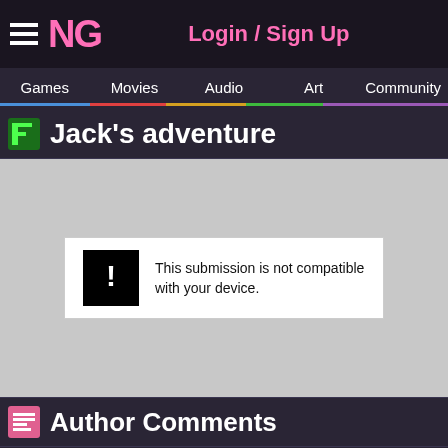Login / Sign Up
Games | Movies | Audio | Art | Community
Jack's adventure
[Figure (screenshot): Game embed area showing error message: 'This submission is not compatible with your device.']
Author Comments
Jack's adventure is an evolution game where you have to buy, with the money you are collecting, new skills to make Jack evolve. There are 1...